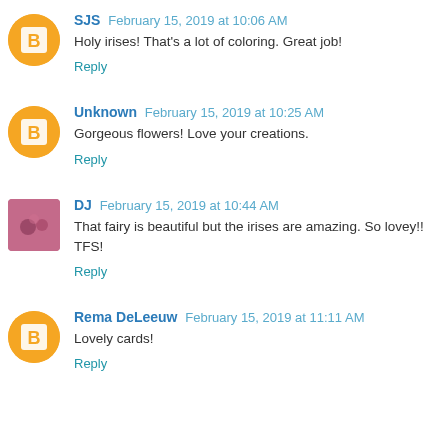SJS February 15, 2019 at 10:06 AM
Holy irises! That's a lot of coloring. Great job!
Reply
Unknown February 15, 2019 at 10:25 AM
Gorgeous flowers! Love your creations.
Reply
DJ February 15, 2019 at 10:44 AM
That fairy is beautiful but the irises are amazing. So lovey!! TFS!
Reply
Rema DeLeeuw February 15, 2019 at 11:11 AM
Lovely cards!
Reply